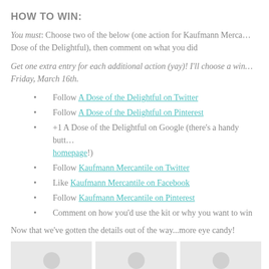HOW TO WIN:
You must: Choose two of the below (one action for Kaufmann Mercantile and one for A Dose of the Delightful), then comment on what you did
Get one extra entry for each additional action (yay)! I'll choose a winner on Friday, March 16th.
Follow A Dose of the Delightful on Twitter
Follow A Dose of the Delightful on Pinterest
+1 A Dose of the Delightful on Google (there's a handy button on the homepage!)
Follow Kaufmann Mercantile on Twitter
Like Kaufmann Mercantile on Facebook
Follow Kaufmann Mercantile on Pinterest
Comment on how you'd use the kit or why you want to win
Now that we've gotten the details out of the way...more eye candy!
[Figure (photo): Three thumbnail images side by side at the bottom of the page]